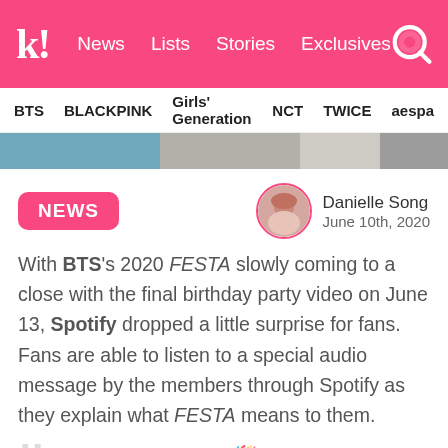k! News Lists Stories Exclusives
BTS | BLACKPINK | Girls' Generation | NCT | TWICE | aespa
[Figure (photo): Horizontal image strip showing K-pop artist photos]
NEWS
Danielle Song
June 10th, 2020
With BTS's 2020 FESTA slowly coming to a close with the final birthday party video on June 13, Spotify dropped a little surprise for fans. Fans are able to listen to a special audio message by the members through Spotify as they explain what FESTA means to them.
Surprise surprise! 🎉